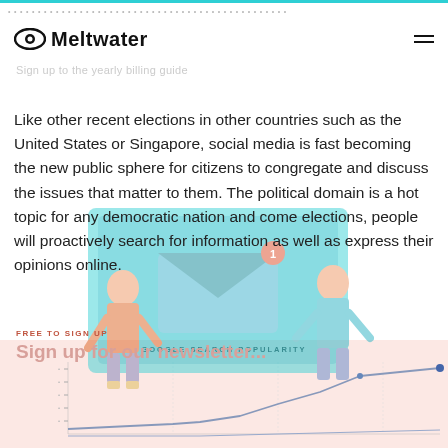[Figure (logo): Meltwater logo with eye icon and hamburger menu]
Sign up to the yearly billing guide
Like other recent elections in other countries such as the United States or Singapore, social media is fast becoming the new public sphere for citizens to congregate and discuss the issues that matter to them. The political domain is a hot topic for any democratic nation and come elections, people will proactively search for information as well as express their opinions online.
[Figure (illustration): Decorative illustration showing a person with email/notification screen overlay, faded in background]
FREE TO SIGN UP
Sign up for our newsletter...
[Figure (line-chart): Partial line chart showing Google search popularity trend with an upward line, on peach/salmon background. Y-axis has unlabeled tick marks, x-axis partially visible.]